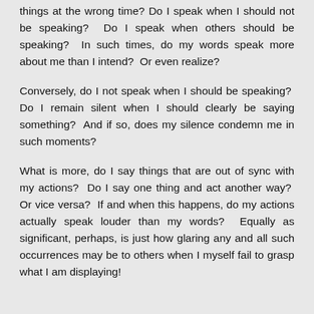things at the wrong time? Do I speak when I should not be speaking? Do I speak when others should be speaking? In such times, do my words speak more about me than I intend? Or even realize?
Conversely, do I not speak when I should be speaking? Do I remain silent when I should clearly be saying something? And if so, does my silence condemn me in such moments?
What is more, do I say things that are out of sync with my actions? Do I say one thing and act another way? Or vice versa? If and when this happens, do my actions actually speak louder than my words? Equally as significant, perhaps, is just how glaring any and all such occurrences may be to others when I myself fail to grasp what I am displaying!